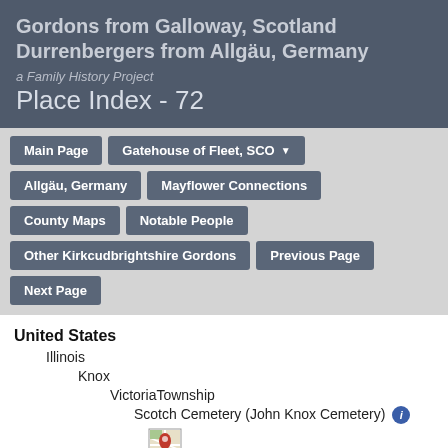Gordons from Galloway, Scotland
Durrenbergers from Allgäu, Germany
a Family History Project
Place Index - 72
Main Page
Gatehouse of Fleet, SCO ▼
Allgäu, Germany
Mayflower Connections
County Maps
Notable People
Other Kirkcudbrightshire Gordons
Previous Page
Next Page
United States
    Illinois
        Knox
            VictoriaTownship
                Scotch Cemetery (John Knox Cemetery) ℹ
                (Unknown Surname), (Unknown
[Figure (illustration): Google Maps icon - a small map marker icon with red, green, blue, yellow colors with a road map background, bordered square icon]